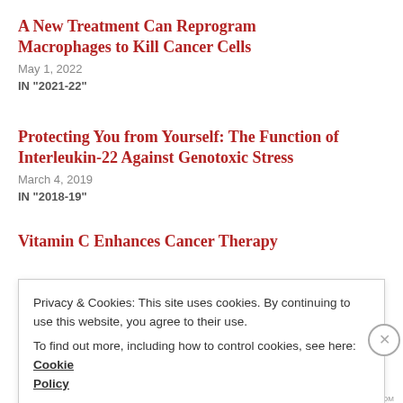A New Treatment Can Reprogram Macrophages to Kill Cancer Cells
May 1, 2022
IN "2021-22"
Protecting You from Yourself: The Function of Interleukin-22 Against Genotoxic Stress
March 4, 2019
IN "2018-19"
Vitamin C Enhances Cancer Therapy
Privacy & Cookies: This site uses cookies. By continuing to use this website, you agree to their use.
To find out more, including how to control cookies, see here: Cookie Policy